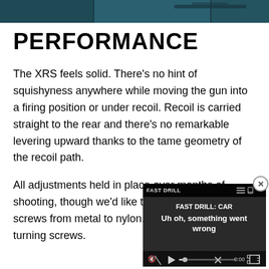[Figure (photo): Partial top image showing what appears to be a firearm or equipment, dark teal/blue tones, cropped at top of page]
PERFORMANCE
The XRS feels solid. There’s no hint of squishyness anywhere while moving the gun into a firing position or under recoil. Recoil is carried straight to the rear and there’s no remarkable levering upward thanks to the tame geometry of the recoil path.
All adjustments held in place over months of shooting, though we’d like to swap the comb riser screws from metal to nylon, replacing the easily turning screws.
[Figure (screenshot): Video player overlay showing 'FAST DRILL: CAR' title with error message 'Uh oh, something went wrong', dark background with playback controls showing 0:00 timestamp]